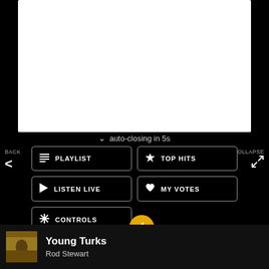[Figure (screenshot): White content area at top of mobile app screen]
auto-closing in 5s
BACK
COLLAPSE
PLAYLIST
TOP HITS
LISTEN LIVE
MY VOTES
CONTROLS
Best bunker hole-outs of the season
Young Turks
Rod Stewart